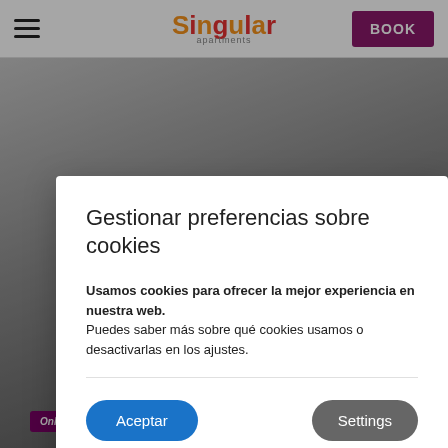[Figure (screenshot): Website header with hamburger menu, Singular Apartments logo in orange and red, and a purple BOOK button]
[Figure (photo): Background image of an apartment interior, partially visible behind the cookie consent modal]
Gestionar preferencias sobre cookies
Usamos cookies para ofrecer la mejor experiencia en nuestra web.
Puedes saber más sobre qué cookies usamos o desactivarlas en los ajustes.
Aceptar
Settings